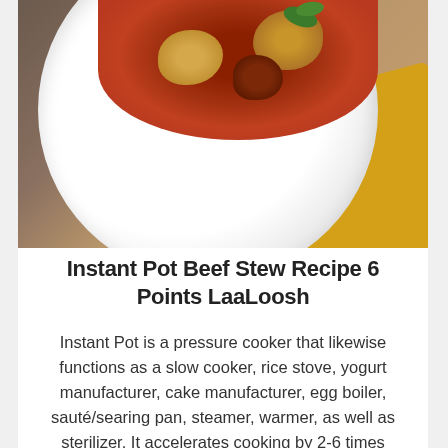[Figure (photo): A white bowl containing beef stew with potatoes, meat, and herbs in a rich red-brown sauce, placed on a yellow napkin on a wooden surface]
Instant Pot Beef Stew Recipe 6 Points LaaLoosh
Instant Pot is a pressure cooker that likewise functions as a slow cooker, rice stove, yogurt manufacturer, cake manufacturer, egg boiler, sauté/searing pan, steamer, warmer, as well as sterilizer. It accelerates cooking by 2-6 times using up to 70% less power and produces nourishing healthy food in a